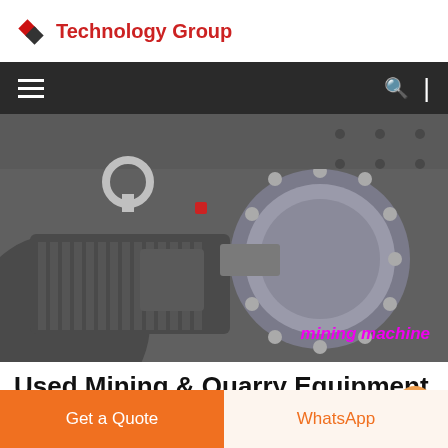Technology Group
[Figure (photo): Close-up photograph of industrial mining/milling machine showing large gear coupling, motor housing with cooling fins, and heavy steel machinery components. Watermark text 'mining machine' in magenta italic.]
Used Mining & Quarry Equipment for Sale
Get a Quote
WhatsApp